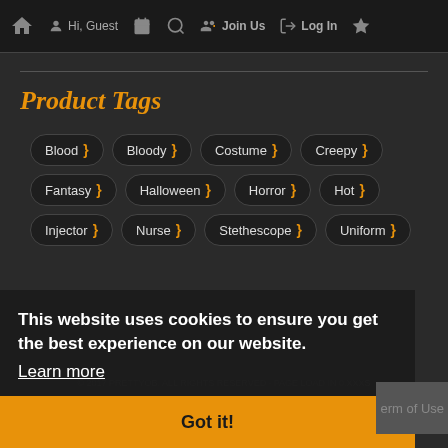Hi, Guest  Join Us  Log In
Product Tags
Blood
Bloody
Costume
Creepy
Fantasy
Halloween
Horror
Hot
Injector
Nurse
Stethescope
Uniform
This website uses cookies to ensure you get the best experience on our website. Learn more
© 2017 PRETTYOB. ALL RIGHTS RESERVED · PAGE LOAD IN 0.XXX S
Got it!
Term of Use